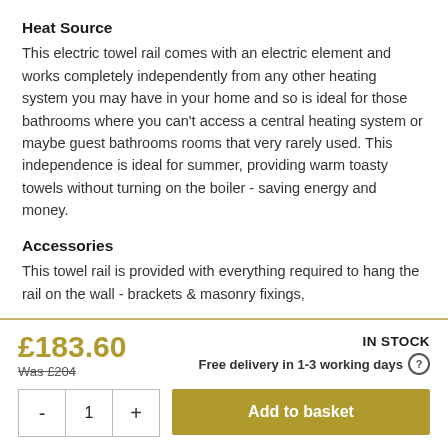Heat Source
This electric towel rail comes with an electric element and works completely independently from any other heating system you may have in your home and so is ideal for those bathrooms where you can't access a central heating system or maybe guest bathrooms rooms that very rarely used. This independence is ideal for summer, providing warm toasty towels without turning on the boiler - saving energy and money.
Accessories
This towel rail is provided with everything required to hang the rail on the wall - brackets & masonry fixings,
£183.60
Was £204
IN STOCK
Free delivery in 1-3 working days
Add to basket